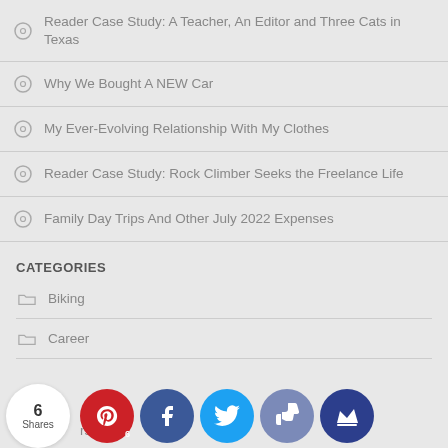Reader Case Study: A Teacher, An Editor and Three Cats in Texas
Why We Bought A NEW Car
My Ever-Evolving Relationship With My Clothes
Reader Case Study: Rock Climber Seeks the Freelance Life
Family Day Trips And Other July 2022 Expenses
CATEGORIES
Biking
Career